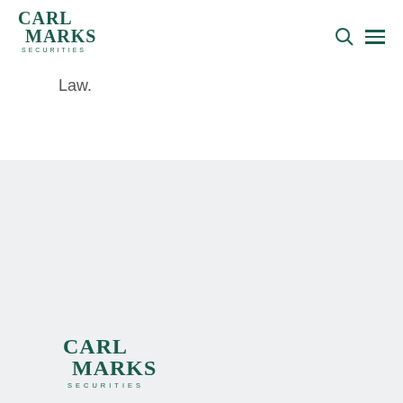[Figure (logo): Carl Marks Securities logo in dark green, top left of page header]
Law.
[Figure (logo): Carl Marks Securities logo in dark green, in footer section]
Securities offered through Carl Marks Securities LLC, a member of FINRA and SIPC.
[Figure (logo): BrokerCheck by FINRA logo in teal/green]
About Us